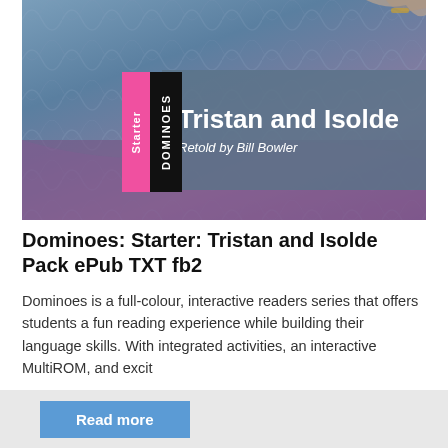[Figure (illustration): Book cover for Dominoes Starter: Tristan and Isolde. Features fabric-like textile background in blue and purple tones with two hands visible. Pink vertical label reading 'Starter' and black vertical label reading 'DOMINOES'. Semi-transparent grey overlay with white bold title 'Tristan and Isolde' and italic subtitle 'Retold by Bill Bowler'.]
Dominoes: Starter: Tristan and Isolde Pack ePub TXT fb2
Dominoes is a full-colour, interactive readers series that offers students a fun reading experience while building their language skills. With integrated activities, an interactive MultiROM, and excit
Read more